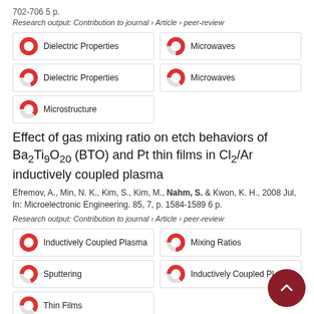702-706 5 p.
Research output: Contribution to journal › Article › peer-review
Dielectric Properties (100%)
Microwaves (75%)
Dielectric Properties (70%)
Microwaves (65%)
Microstructure (62%)
Effect of gas mixing ratio on etch behaviors of Ba₂Ti₉O₂₀ (BTO) and Pt thin films in Cl₂/Ar inductively coupled plasma
Efremov, A., Min, N. K., Kim, S., Kim, M., Nahm, S. & Kwon, K. H., 2008 Jul, In: Microelectronic Engineering. 85, 7, p. 1584-1589 6 p.
Research output: Contribution to journal › Article › peer-review
Inductively Coupled Plasma (100%)
Mixing Ratios (75%)
Sputtering (70%)
Inductively Coupled Pl... (65%)
Thin Films (62%)